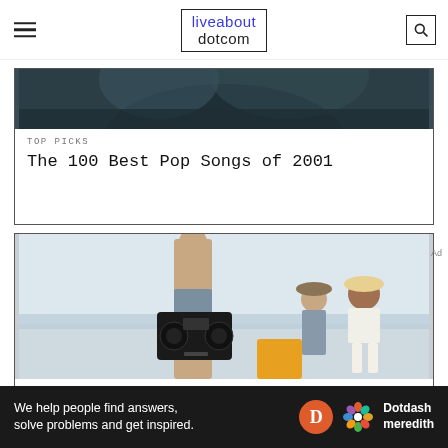liveabout dotcom
[Figure (photo): Dark photo partially visible at top, appears to be a music or pop culture image]
TOP PICKS
The 100 Best Pop Songs of 2001
[Figure (photo): Photo of young people on a beach carrying a boombox/stereo, wearing summer clothes]
TOP PICKS
Top 20 Summer Albums of All Time
We help people find answers, solve problems and get inspired.